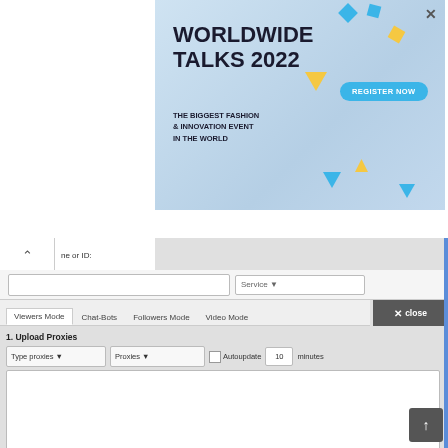[Figure (screenshot): Advertisement banner for Worldwide Talks 2022 – The Biggest Fashion & Innovation Event in the World, with Register Now button and decorative shapes on light blue background.]
[Figure (screenshot): Web application UI panel showing a bot/viewer tool with search input, Service dropdown, tab navigation (Viewers Mode, Chat-Bots, Followers Mode, Video Mode), proxy upload section with Type proxies and Proxies dropdowns, Autoupdate checkbox, proxy textarea, Settings section with Threads, Timeout, Boost method, User-Agents, Quality dropdowns, and a Start button.]
[Figure (screenshot): Close button overlay on top right of panel, and scroll-to-top button at bottom right.]